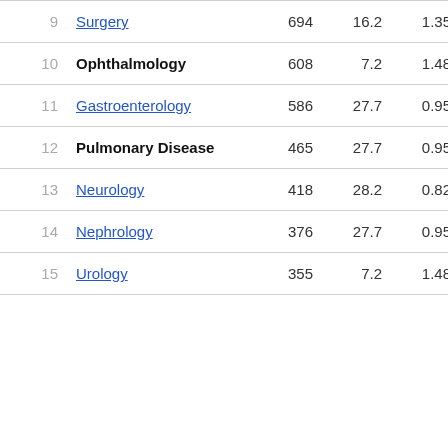| # | Specialty | Count | Col3 | Col4 | Col5 |
| --- | --- | --- | --- | --- | --- |
| 9 | Surgery | 694 | 16.2 | 1.35 | 0.368 |
| 10 | Ophthalmology | 608 | 7.2 | 1.48 | 4.006 |
| 11 | Gastroenterology | 586 | 27.7 | 0.95 | 0.345 |
| 12 | Pulmonary Disease | 465 | 27.7 | 0.95 | 0.345 |
| 13 | Neurology | 418 | 28.2 | 0.82 | 0.15 |
| 14 | Nephrology | 376 | 27.7 | 0.95 | 0.345 |
| 15 | Urology | 355 | 7.2 | 1.48 | 4.006 |